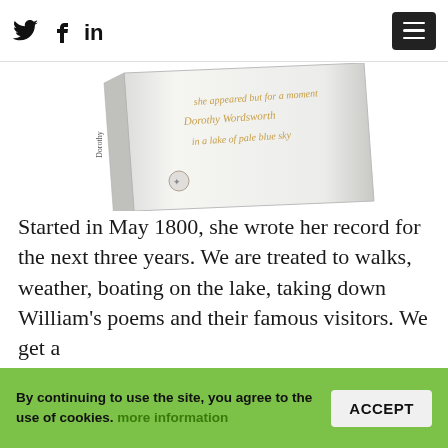Twitter, Facebook, LinkedIn social icons and hamburger menu
[Figure (photo): A white book with gold cursive handwriting on its spine/cover, angled view showing decorative text]
Started in May 1800, she wrote her record for the next three years. We are treated to walks, weather, boating on the lake, taking down William's poems and their famous visitors. We get a unique insight into the domestic life of the Wordsworth's and particularly Dorothy, an
By continuing to use the site, you agree to the use of cookies. more information ACCEPT